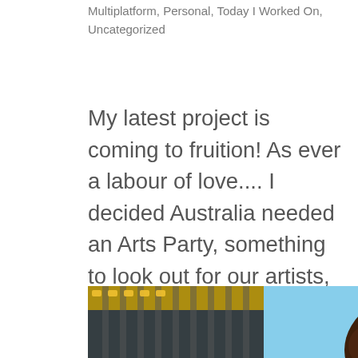Multiplatform, Personal, Today I Worked On, Uncategorized
My latest project is coming to fruition! As ever a labour of love.... I decided Australia needed an Arts Party, something to look out for our artists, audiences and general human creativity in the powerful realm of national politics. It is coming to pass!...
[Figure (photo): A person taking a selfie outdoors near water, wearing dark sunglasses and having curly auburn/brown hair. A grandstand structure is visible on the left, with blue sky and water in the background. Another figure is partially visible on the right edge.]